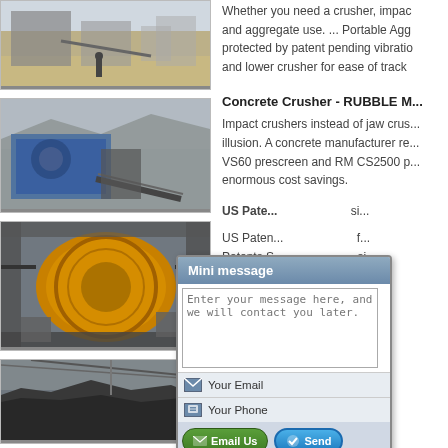[Figure (photo): Mining/crushing site with machinery, conveyor belts, and a worker standing in foreground]
[Figure (photo): Blue industrial crusher/impact machine at a quarry site]
[Figure (photo): Large yellow industrial drum/ball mill machinery]
[Figure (photo): Dark aggregate/gravel stockpile with cables overhead]
Whether you need a crusher, impac... and aggregate use. ... Portable Agg... protected by patent pending vibratio... and lower crusher for ease of track
Concrete Crusher - RUBBLE M...
Impact crushers instead of jaw crus... illusion. A concrete manufacturer re... VS60 prescreen and RM CS2500 p... enormous cost savings.
US Pate... si...
US Paten... f... Patents S... si...
william c... h...
william cr... us...